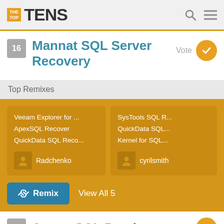THE TOP TENS
16 Mannat SQL Server Recovery
Vote
Top Remixes
Veeam Explorer for ...
ApexSQL Recover
QuickData SQL Reco...
Radchenko
SysTools SQL R...
QuickData SQL...
Kernel for SQL...
cyrilsmith
Remix  View All 5
17 Anzen SQL Database...